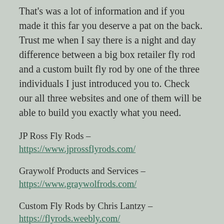That's was a lot of information and if you made it this far you deserve a pat on the back. Trust me when I say there is a night and day difference between a big box retailer fly rod and a custom built fly rod by one of the three individuals I just introduced you to. Check our all three websites and one of them will be able to build you exactly what you need.
JP Ross Fly Rods – https://www.jprossflyrods.com/
Graywolf Products and Services – https://www.graywolfrods.com/
Custom Fly Rods by Chris Lantzy – https://flyrods.weebly.com/